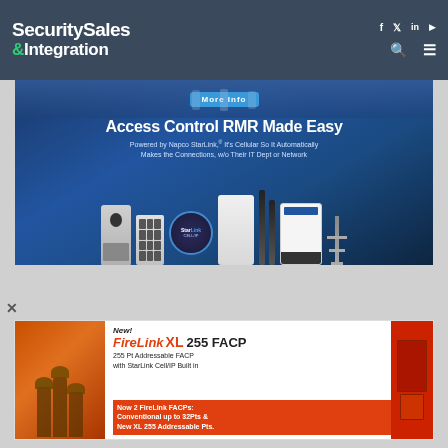Security Sales & Integration
[Figure (screenshot): Advertisement banner for Napco StarLink Access Control RMR. Blue background with security devices. Text: 'Access Control RMR Made Easy. Powered by Napco StarLink, It's Cellular So It Automatically Makes the Connections, w/o Their IT Dept or Network']
[Figure (screenshot): Advertisement banner for FireLink XL 255 FACP. Text: 'New! FireLink XL 255 FACP. 255 Pt Addressable FACP with StarLink Cell/IP Built in. Now 2 FireLink FACPs: Conventional up to 32Pts & New XL 255 Addressable Pts.' Shows firefighters and red fire alarm panels.]